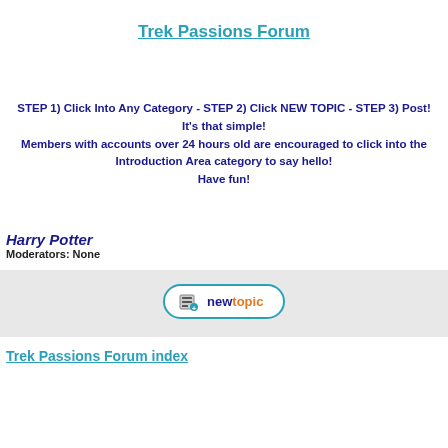Trek Passions Forum
STEP 1) Click Into Any Category - STEP 2) Click NEW TOPIC - STEP 3) Post! It's that simple! Members with accounts over 24 hours old are encouraged to click into the Introduction Area category to say hello! Have fun!
Harry Potter
Moderators: None
[Figure (screenshot): New Topic button with document icon, teal border, text 'new topic']
Trek Passions Forum index